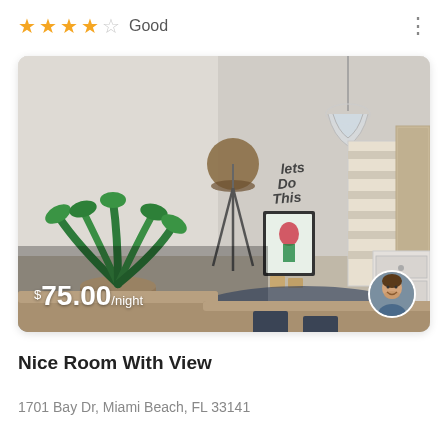★★★★☆ Good
[Figure (photo): Interior photo of a modern minimalist bedroom with white walls, a floor lamp with tripod legs, a potted tropical plant, a framed artwork on the wall with 'Lets Do This' text, a decorative pendant light hanging from ceiling, a wooden staircase or shelving unit in background, a dresser with drawers, and two beds with tan/brown bedding. A dark blue rug is on the floor. Price overlay shows $75.00/night and a circular host avatar photo in the bottom right corner.]
Nice Room With View
1701 Bay Dr, Miami Beach, FL 33141